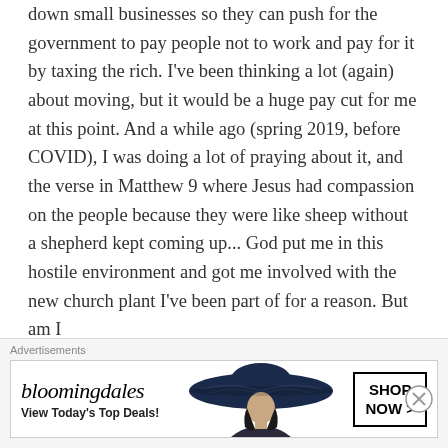down small businesses so they can push for the government to pay people not to work and pay for it by taxing the rich. I've been thinking a lot (again) about moving, but it would be a huge pay cut for me at this point. And a while ago (spring 2019, before COVID), I was doing a lot of praying about it, and the verse in Matthew 9 where Jesus had compassion on the people because they were like sheep without a shepherd kept coming up... God put me in this hostile environment and got me involved with the new church plant I've been part of for a reason. But am I
[Figure (other): Bloomingdale's advertisement banner showing the Bloomingdales logo in stylized font, a woman wearing a large brimmed hat, tagline 'View Today's Top Deals!', and a 'SHOP NOW >' call-to-action button. Preceded by 'Advertisements' label.]